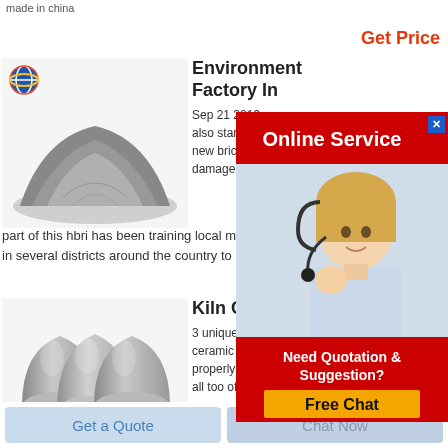made in china
Get Price
[Figure (other): Online Service popup with red header bar, close X button, and woman with headset customer service representative]
[Figure (photo): Gray fine powder / cement dust heap on white background with small globe logo in top left]
Environment Factory In
Sep 21 2019  resea also started concep new bricks to mitigate damage caused by part of this hbri has been training local masons and en in several districts around the country to use these alte
[Figure (other): Need Quotation & Suggestion? Free Chat button overlay box]
[Figure (photo): Three gray ceramic/metal egg-shaped or teardrop objects grouped together on white background]
Kiln Constru
3 unique kiln designs the kiln is a vital part of a ceramic artists creative process and when properly built should last for hundreds of firings all too often kilns are poorly designed too large
Get a Quote
Chat Now